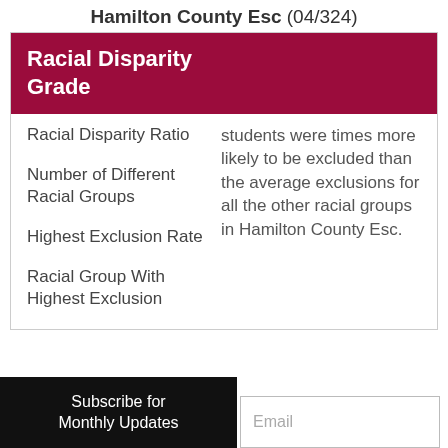Hamilton County Esc (04/324)
Racial Disparity Grade
Racial Disparity Ratio
students were times more likely to be excluded than the average exclusions for all the other racial groups in Hamilton County Esc.
Number of Different Racial Groups
Highest Exclusion Rate
Racial Group With Highest Exclusion
Subscribe for Monthly Updates
Email